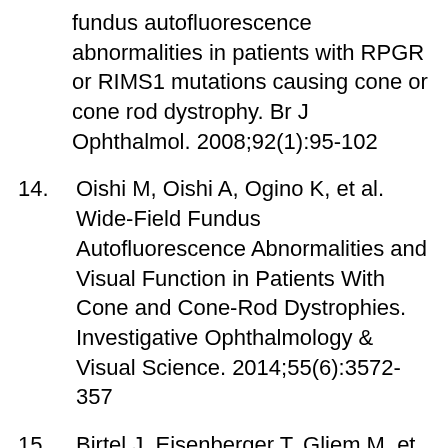fundus autofluorescence abnormalities in patients with RPGR or RIMS1 mutations causing cone or cone rod dystrophy. Br J Ophthalmol. 2008;92(1):95-102
14. Oishi M, Oishi A, Ogino K, et al. Wide-Field Fundus Autofluorescence Abnormalities and Visual Function in Patients With Cone and Cone-Rod Dystrophies. Investigative Ophthalmology & Visual Science. 2014;55(6):3572-3577
15. Birtel J, Eisenberger T, Gliem M, et al.